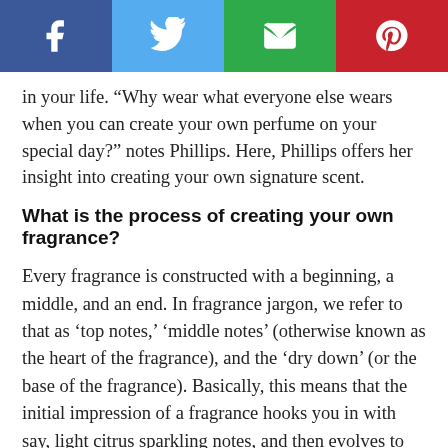[Figure (other): Social media sharing bar with four buttons: Facebook (dark blue, f icon), Twitter (light blue, bird icon), Email (green, envelope icon), Pinterest (red, P icon)]
in your life. “Why wear what everyone else wears when you can create your own perfume on your special day?” notes Phillips. Here, Phillips offers her insight into creating your own signature scent.
What is the process of creating your own fragrance?
Every fragrance is constructed with a beginning, a middle, and an end. In fragrance jargon, we refer to that as ‘top notes,’ ‘middle notes’ (otherwise known as the heart of the fragrance), and the ‘dry down’ (or the base of the fragrance). Basically, this means that the initial impression of a fragrance hooks you in with say, light citrus sparkling notes, and then evolves to beautiful florals with complex notes of spicy and fruity notes, and